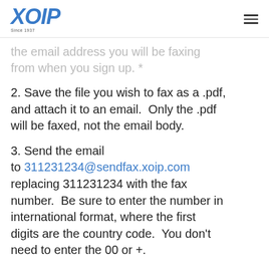XOIP Since 1937
the email address you will be faxing from when you sign up. *
2. Save the file you wish to fax as a .pdf, and attach it to an email.  Only the .pdf will be faxed, not the email body.
3. Send the email to 311231234@sendfax.xoip.com replacing 311231234 with the fax number.  Be sure to enter the number in international format, where the first digits are the country code.  You don’t need to enter the 00 or +.